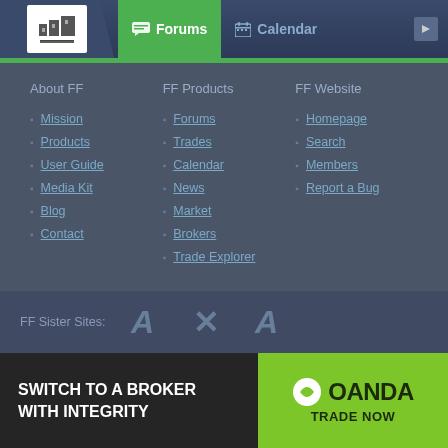Forums | Calendar
About FF
Mission
Products
User Guide
Media Kit
Blog
Contact
FF Products
Forums
Trades
Calendar
News
Market
Brokers
Trade Explorer
FF Website
Homepage
Search
Members
Report a Bug
FF Sister Sites:
[Figure (logo): OANDA - Switch to a Broker With Integrity - Trade Now advertisement banner]